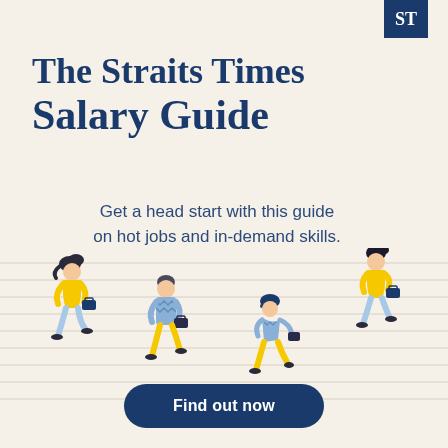[Figure (logo): The Straits Times logo — white 'ST' letters on dark navy blue square background]
The Straits Times Salary Guide
Get a head start with this guide on hot jobs and in-demand skills.
[Figure (illustration): Four illustrated figures of people running/jogging carrying briefcases, wearing yellow and blue outfits, ascending a staircase of horizontal lines. Two figures on the left side (a woman in yellow top, a man in blue patterned top), two on the right (a woman in yellow top, a man in blue patterned top).]
Find out now